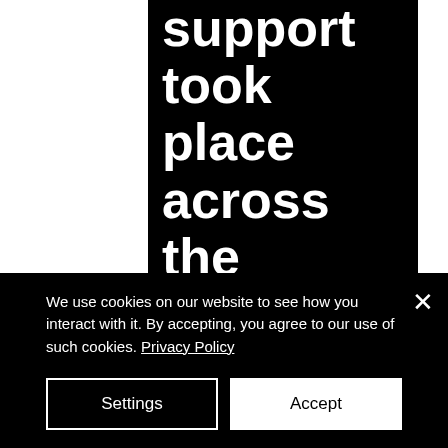support took place across the country on Friday.
At a time when many people can't gather in-person to rally, supporters are going for 2.23-mile runs (Mr. Arbery was killed on Feb. 23). By Friday morning, the hashtag #IRunWithMaud had been used tens of thousands of times on Twitter, and people shared photographs
We use cookies on our website to see how you interact with it. By accepting, you agree to our use of such cookies. Privacy Policy